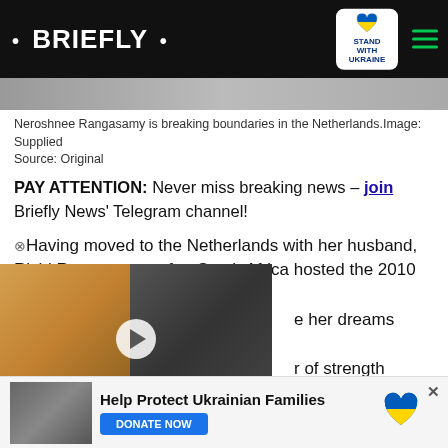• BRIEFLY •
Neroshnee Rangasamy is breaking boundaries in the Netherlands.Image: Supplied
Source: Original
PAY ATTENTION: Never miss breaking news – join Briefly News' Telegram channel!
Having moved to the Netherlands with her husband, Rishi Raga, a year after South Africa hosted the 2010 FIFA World her dreams come true. She r of strength through the
[Figure (screenshot): Video overlay showing two women; labeled 'SPARKS WHITEWASHING DEBATE' with play button]
[Figure (infographic): Ukraine donation ad: Help Protect Ukrainian Families with DONATE NOW button and Ukraine heart flag logo]